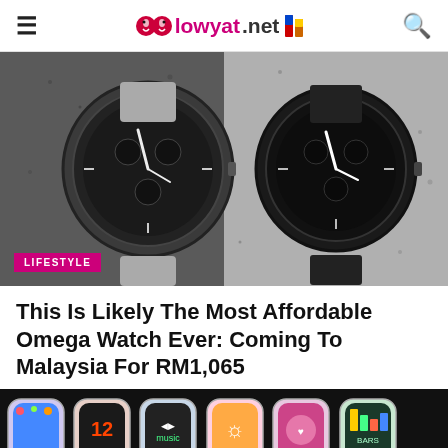lowyat.net
[Figure (photo): Two Omega Speedmaster watches side by side on a rocky surface, one with a light grey band (left) and one with a dark black band (right). A pink 'LIFESTYLE' badge is overlaid on the bottom-left.]
This Is Likely The Most Affordable Omega Watch Ever: Coming To Malaysia For RM1,065
[Figure (photo): Multiple Apple Watch models displayed in a row on a dark background, showing various watch faces and colorful bands.]
We use cookies to improve your experience. Learn More.
AGREE & CLOSE